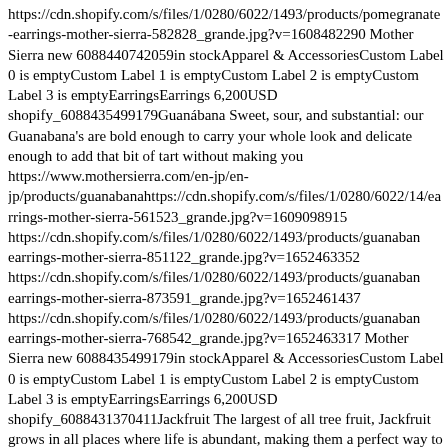https://cdn.shopify.com/s/files/1/0280/6022/1493/products/pomegranate-earrings-mother-sierra-582828_grande.jpg?v=1608482290 Mother Sierra new 6088440742059in stockApparel & AccessoriesCustom Label 0 is emptyCustom Label 1 is emptyCustom Label 2 is emptyCustom Label 3 is emptyEarringsEarrings 6,200USD shopify_6088435499179Guanábana Sweet, sour, and substantial: our Guanabana's are bold enough to carry your whole look and delicate enough to add that bit of tart without making you https://www.mothersierra.com/en-jp/en-jp/products/guanabanahttps://cdn.shopify.com/s/files/1/0280/6022/14/earrings-mother-sierra-561523_grande.jpg?v=1609098915 https://cdn.shopify.com/s/files/1/0280/6022/1493/products/guanabana-earrings-mother-sierra-851122_grande.jpg?v=1652463352 https://cdn.shopify.com/s/files/1/0280/6022/1493/products/guanabana-earrings-mother-sierra-873591_grande.jpg?v=1652461437 https://cdn.shopify.com/s/files/1/0280/6022/1493/products/guanabana-earrings-mother-sierra-768542_grande.jpg?v=1652463317 Mother Sierra new 6088435499179in stockApparel & AccessoriesCustom Label 0 is emptyCustom Label 1 is emptyCustom Label 2 is emptyCustom Label 3 is emptyEarringsEarrings 6,200USD shopify_6088431370411Jackfruit The largest of all tree fruit, Jackfruit grows in all places where life is abundant, making them a perfect way to celebrate our planet's fertility.Sizhttps://www.mothersierra.com/en-jp/en-jp/products/jack-flatthttps://cdn.shopify.com/s/files/1/0280/6022/1493/products/jackfruit